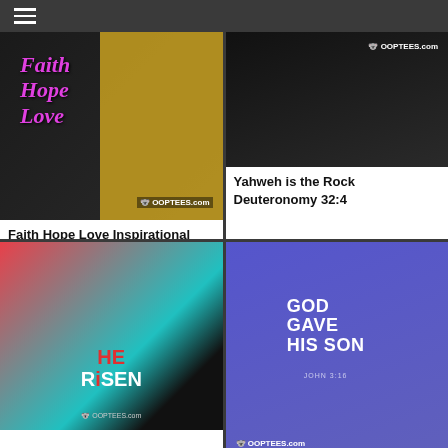☰ (navigation menu)
[Figure (photo): Person wearing a black t-shirt with 'Faith Hope Love' in pink cursive text, with yellow background on right side. OOPTEES.com watermark.]
Faith Hope Love Inspirational Christian Message. 1 Corinthians 13
[Figure (photo): Person wearing a black t-shirt, OOPTEES.com watermark in upper right corner.]
Yahweh is the Rock Deuteronomy 32:4
[Figure (photo): Woman wearing a black t-shirt with 'HE RISEN' text, colorful background of red, teal, and black. OOPTEES.com watermark.]
[Figure (photo): Young man wearing a purple t-shirt with 'GOD GAVE HIS SON' and 'JOHN 3:16' text. OOPTEES.com watermark.]
God Gave His Son John 3:16 Easter Jesus Christ Resurrection